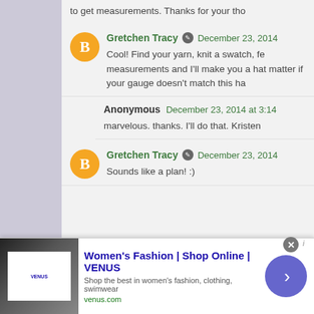to get measurements. Thanks for your tho
Gretchen Tracy  December 23, 2014
Cool! Find your yarn, knit a swatch, fe measurements and I'll make you a hat matter if your gauge doesn't match this ha
Anonymous  December 23, 2014 at 3:14
marvelous. thanks. I'll do that. Kristen
Gretchen Tracy  December 23, 2014
Sounds like a plan! :)
[Figure (screenshot): Ad banner for VENUS Women's Fashion with close button and navigation arrow]